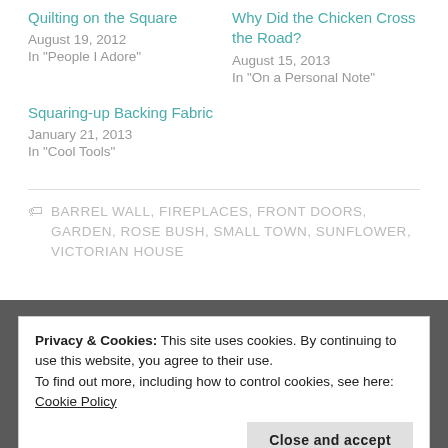Quilting on the Square
August 19, 2012
In "People I Adore"
Why Did the Chicken Cross the Road?
August 15, 2013
In "On a Personal Note"
Squaring-up Backing Fabric
January 21, 2013
In "Cool Tools"
BARREL WALL, FIREPLACES, FRONT DOORS, GARDEN, ROSE BUSH, SMALL TOWN, SUNFLOWER, VICTORIAN HOUSE
Privacy & Cookies: This site uses cookies. By continuing to use this website, you agree to their use.
To find out more, including how to control cookies, see here: Cookie Policy
Close and accept